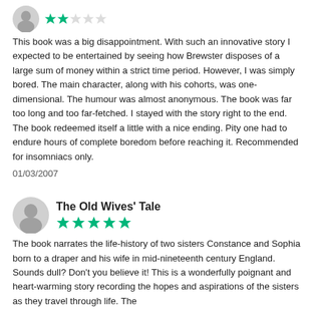[Figure (other): User avatar icon (gray silhouette) and 2-star rating]
This book was a big disappointment. With such an innovative story I expected to be entertained by seeing how Brewster disposes of a large sum of money within a strict time period. However, I was simply bored. The main character, along with his cohorts, was one-dimensional. The humour was almost anonymous. The book was far too long and too far-fetched. I stayed with the story right to the end. The book redeemed itself a little with a nice ending. Pity one had to endure hours of complete boredom before reaching it. Recommended for insomniacs only.
01/03/2007
[Figure (other): User avatar icon (gray silhouette), book title 'The Old Wives' Tale' and 5-star rating]
The book narrates the life-history of two sisters Constance and Sophia born to a draper and his wife in mid-nineteenth century England. Sounds dull? Don't you believe it! This is a wonderfully poignant and heart-warming story recording the hopes and aspirations of the sisters as they travel through life. The